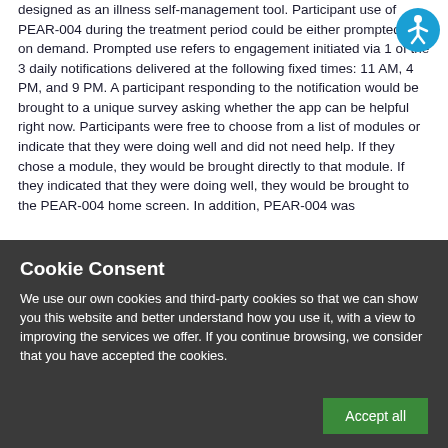designed as an illness self-management tool. Participant use of PEAR-004 during the treatment period could be either prompted or on demand. Prompted use refers to engagement initiated via 1 of the 3 daily notifications delivered at the following fixed times: 11 AM, 4 PM, and 9 PM. A participant responding to the notification would be brought to a unique survey asking whether the app can be helpful right now. Participants were free to choose from a list of modules or indicate that they were doing well and did not need help. If they chose a module, they would be brought directly to that module. If they indicated that they were doing well, they would be brought to the PEAR-004 home screen. In addition, PEAR-004 was
[Figure (illustration): Accessibility icon: circular blue button with white person/wheelchair figure]
Cookie Consent
We use our own cookies and third-party cookies so that we can show you this website and better understand how you use it, with a view to improving the services we offer. If you continue browsing, we consider that you have accepted the cookies.